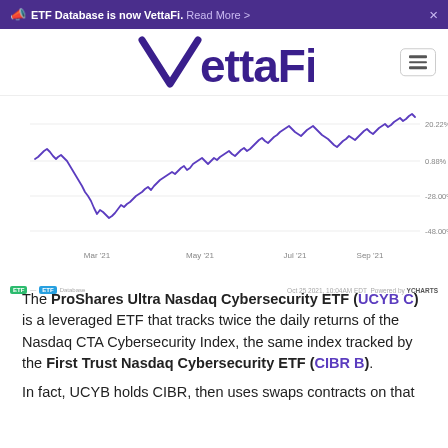ETF Database is now VettaFi. Read More >
[Figure (logo): VettaFi logo with stylized V stripes]
[Figure (continuous-plot): Line chart showing ProShares Ultra Nasdaq Cybersecurity ETF (UCYB) performance from approximately Jan 2021 to Oct 2021, with y-axis labels 20.22%, 0.88%, -28.00%, -48.00% and x-axis labels Mar '21, May '21, Jul '21, Sep '21]
The ProShares Ultra Nasdaq Cybersecurity ETF (UCYB C) is a leveraged ETF that tracks twice the daily returns of the Nasdaq CTA Cybersecurity Index, the same index tracked by the First Trust Nasdaq Cybersecurity ETF (CIBR B).
In fact, UCYB holds CIBR, then uses swaps contracts on that